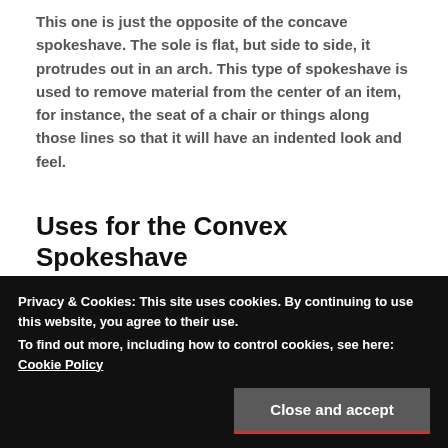This one is just the opposite of the concave spokeshave. The sole is flat, but side to side, it protrudes out in an arch. This type of spokeshave is used to remove material from the center of an item, for instance, the seat of a chair or things along those lines so that it will have an indented look and feel.
Uses for the Convex Spokeshave
You can use this type of spokeshave to remove material from any kind of project that you wish to
Privacy & Cookies: This site uses cookies. By continuing to use this website, you agree to their use.
To find out more, including how to control cookies, see here: Cookie Policy
can achieve whatever angle you're looking for.